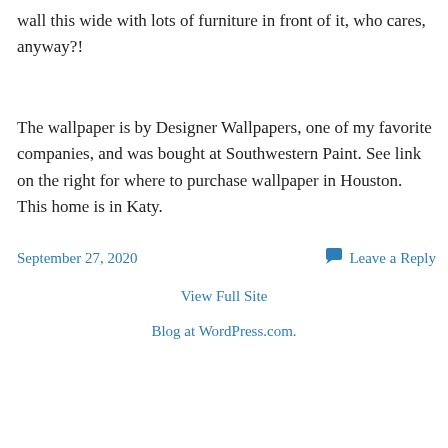wall this wide with lots of furniture in front of it, who cares, anyway?!
The wallpaper is by Designer Wallpapers, one of my favorite companies, and was bought at Southwestern Paint. See link on the right for where to purchase wallpaper in Houston. This home is in Katy.
September 27, 2020
Leave a Reply
View Full Site
Blog at WordPress.com.